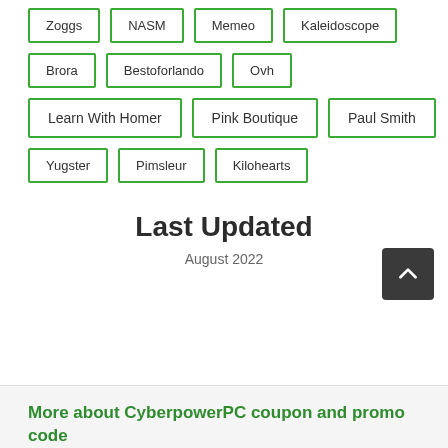Zoggs
NASM
Memeo
Kaleidoscope
Brora
Bestoforlando
Ovh
Learn With Homer
Pink Boutique
Paul Smith
Yugster
Pimsleur
Kilohearts
Last Updated
August 2022
More about CyberpowerPC coupon and promo code